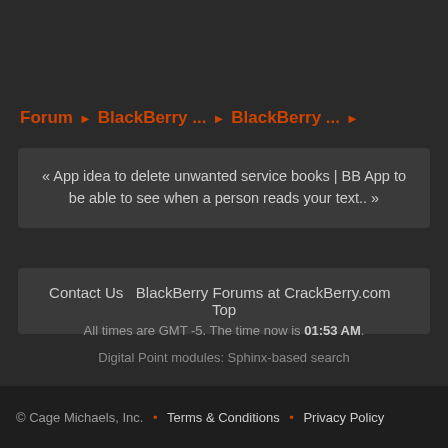Forum › BlackBerry ... › BlackBerry ... ›
« App idea to delete unwanted service books | BB App to be able to see when a person reads your text.. »
Contact Us  BlackBerry Forums at CrackBerry.com  Top
All times are GMT -5. The time now is 01:53 AM.
Digital Point modules: Sphinx-based search
© Cage Michaels, Inc.  •  Terms & Conditions  •  Privacy Policy